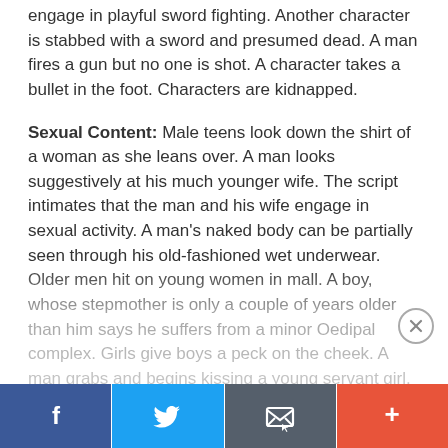engage in playful sword fighting. Another character is stabbed with a sword and presumed dead. A man fires a gun but no one is shot. A character takes a bullet in the foot. Characters are kidnapped.
Sexual Content: Male teens look down the shirt of a woman as she leans over. A man looks suggestively at his much younger wife. The script intimates that the man and his wife engage in sexual activity. A man's naked body can be partially seen through his old-fashioned wet underwear. Older men hit on young women in mall. A boy, whose stepmother is only a couple of years older than him says he suffers from a minor Oedipal complex. Girls give boys a peck on the cheek. A man grabs and begins kissing a young servant girl.
Language: The script includes some crude anatomical terms and name-calling, a couple of mild profanities, sexual innuendo and some rude language. A scatological